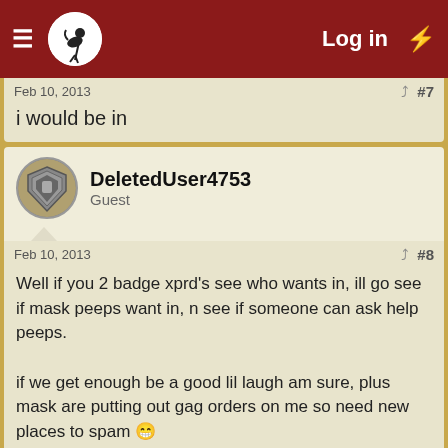Log in
Feb 10, 2013   #7
i would be in
DeletedUser4753
Guest
Feb 10, 2013   #8
Well if you 2 badge xprd's see who wants in, ill go see if mask peeps want in, n see if someone can ask help peeps.

if we get enough be a good lil laugh am sure, plus mask are putting out gag orders on me so need new places to spam 😁
DeletedUser4942
Guest
Feb 11, 2013   #9
Paul sent you a message:
Are you ready for the start of W57? We are waiting for you!"